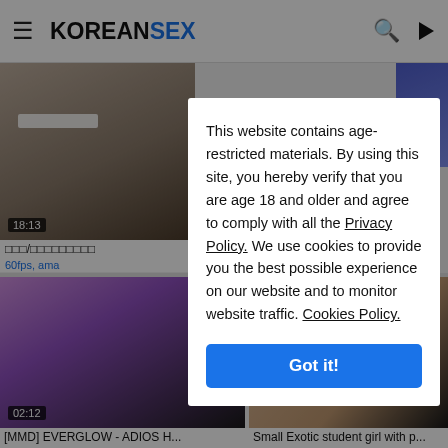KOREANSEX
[Figure (screenshot): Video thumbnail top-left showing person, timestamp 18:13]
[Figure (screenshot): Video thumbnail top-right purple/blue]
□□□/□□□□□□□□□
60fps, ama
[Figure (screenshot): Video thumbnail bottom-left MMD purple/pink figure, timestamp 02:12]
[Figure (screenshot): Video thumbnail bottom-right exotic student girl]
[MMD] EVERGLOW - ADIOS H...
60fps, babe, babe hot, big, big ...
Small Exotic student girl with p...
student, student girl, girl, girl gi...
[Figure (screenshot): Video thumbnail bottom row left, person in bunny costume]
[Figure (screenshot): Video thumbnail bottom row right, person from behind]
GO TOP
This website contains age-restricted materials. By using this site, you hereby verify that you are age 18 and older and agree to comply with all the Privacy Policy. We use cookies to provide you the best possible experience on our website and to monitor website traffic. Cookies Policy.
Got it!